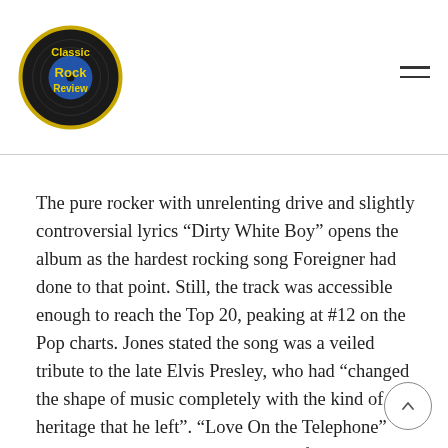Classic Rock Review
The pure rocker with unrelenting drive and slightly controversial lyrics “Dirty White Boy” opens the album as the hardest rocking song Foreigner had done to that point. Still, the track was accessible enough to reach the Top 20, peaking at #12 on the Pop charts. Jones stated the song was a veiled tribute to the late Elvis Presley, who had “changed the shape of music completely with the kind of heritage that he left”. “Love On the Telephone” revives the more traditional sound of Foreigner in the late seventies. Here Jones switches from guitar to his piano skills, holding down